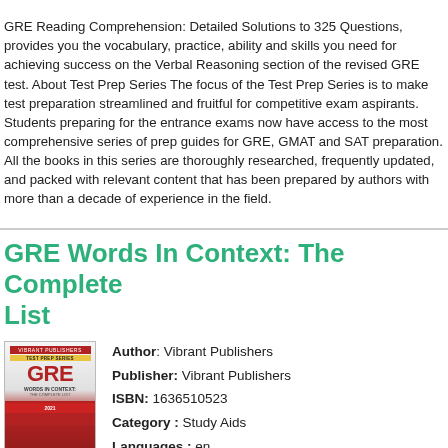GRE Reading Comprehension: Detailed Solutions to 325 Questions, provides you the vocabulary, practice, ability and skills you need for achieving success on the Verbal Reasoning section of the revised GRE test. About Test Prep Series The focus of the Test Prep Series is to make test preparation streamlined and fruitful for competitive exam aspirants. Students preparing for the entrance exams now have access to the most comprehensive series of prep guides for GRE, GMAT and SAT preparation. All the books in this series are thoroughly researched, frequently updated, and packed with relevant content that has been prepared by authors with more than a decade of experience in the field.
GRE Words In Context: The Complete List
[Figure (illustration): Book cover for GRE Words In Context: The Complete List by Vibrant Publishers, showing GRE branding in red and a person in a yellow outfit]
Author: Vibrant Publishers
Publisher: Vibrant Publishers
ISBN: 1636510523
Category : Study Aids
Languages : en